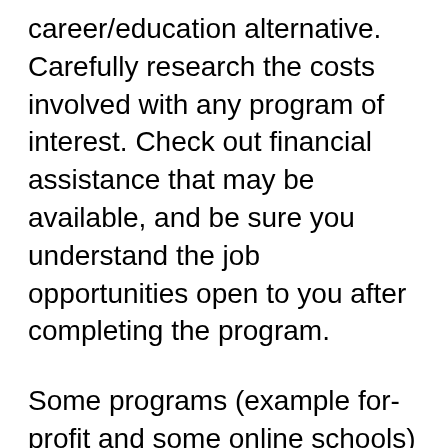career/education alternative. Carefully research the costs involved with any program of interest. Check out financial assistance that may be available, and be sure you understand the job opportunities open to you after completing the program.
Some programs (example for-profit and some online schools) make great promises with a full-court marketing press, knowing that you'll take out student loans to pay for it. The college gets paid (by the loans), and you are left in debt, and you might not leave with what you really need to be successful. And you may have overpaid and find it